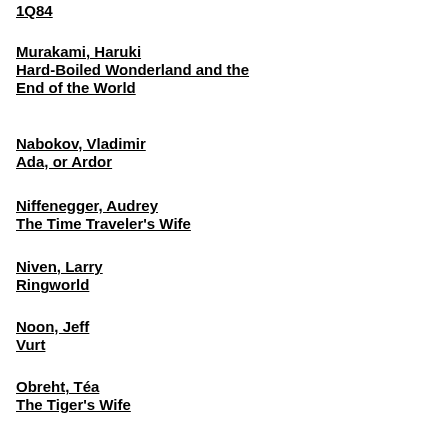1Q84
Murakami, Haruki
Hard-Boiled Wonderland and the End of the World
Nabokov, Vladimir
Ada, or Ardor
Niffenegger, Audrey
The Time Traveler's Wife
Niven, Larry
Ringworld
Noon, Jeff
Vurt
Obreht, Téa
The Tiger's Wife
O'Brien, Flann
At Swim-Two-Birds
Okri, Ben
The Famished Road
Percy, Walker
Love in the Ruins